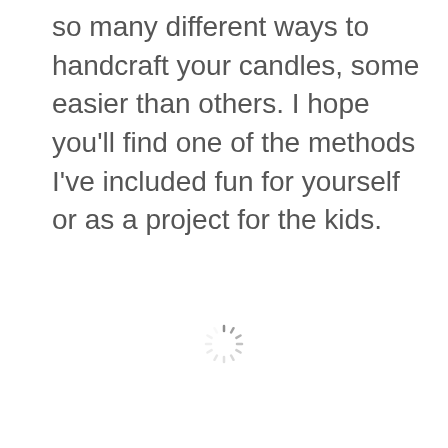so many different ways to handcraft your candles, some easier than others. I hope you'll find one of the methods I've included fun for yourself or as a project for the kids.
[Figure (other): A loading spinner icon (circular dashed lines indicating loading state) centered in the lower half of the page.]